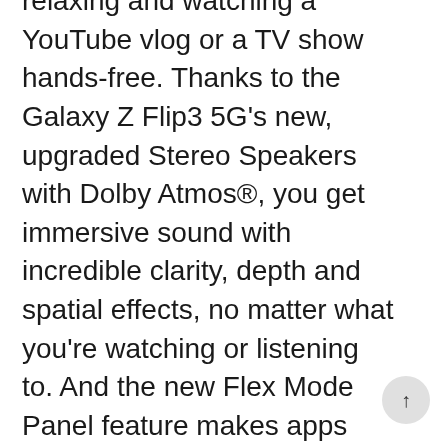relaxing and watching a YouTube vlog or a TV show hands-free. Thanks to the Galaxy Z Flip3 5G's new, upgraded Stereo Speakers with Dolby Atmos®, you get immersive sound with incredible clarity, depth and spatial effects, no matter what you're watching or listening to. And the new Flex Mode Panel feature makes apps look better and easier to use. When the device is partially folded, Flex Mode Panel gives you new ways to interact with the Galaxy Z Flip3 5G, offering a more convenient viewing experience by moving the video